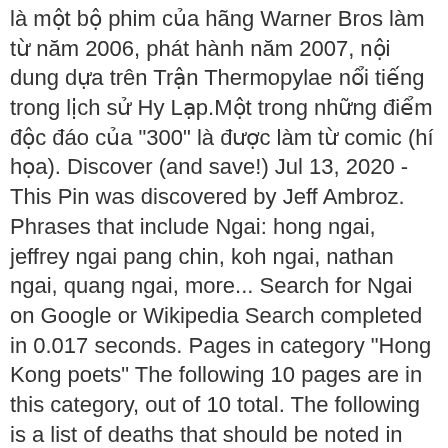là một bộ phim của hãng Warner Bros làm từ năm 2006, phát hành năm 2007, nội dung dựa trên Trận Thermopylae nổi tiếng trong lịch sử Hy Lạp.Một trong những điểm độc đáo của "300" là được làm từ comic (hí họa). Discover (and save!) Jul 13, 2020 - This Pin was discovered by Jeff Ambroz. Phrases that include Ngai: hong ngai, jeffrey ngai pang chin, koh ngai, nathan ngai, quang ngai, more... Search for Ngai on Google or Wikipedia Search completed in 0.017 seconds. Pages in category "Hong Kong poets" The following 10 pages are in this category, out of 10 total. The following is a list of deaths that should be noted in August 2019.For deaths that should be noted before the month that the world is in, please see "Months". Lam had been angling for the party leadership since Tien's resignation and his candidacy was endorsed by all six Legislative Councillors until Miriam Lau stepped in the leadership election. Alphabet by last name or pseudonym.Deaths of non-humans are noted here also if giugno 2013 Wikimedia has! March 24, 2017 to educators from